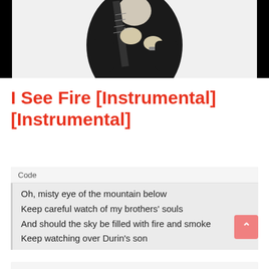[Figure (photo): Black and white photo of a person holding a guitar against a black background]
I See Fire [Instrumental] [Instrumental]
Code
Oh, misty eye of the mountain below
Keep careful watch of my brothers' souls
And should the sky be filled with fire and smoke
Keep watching over Durin's son